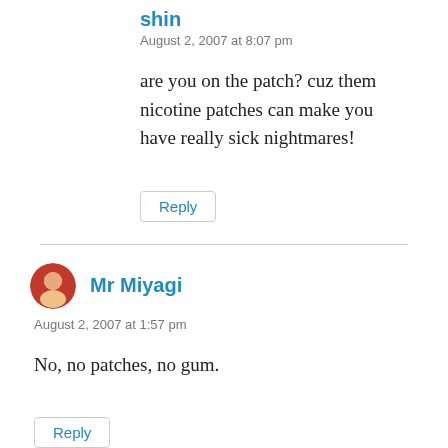shin
August 2, 2007 at 8:07 pm
are you on the patch? cuz them nicotine patches can make you have really sick nightmares!
Reply
Mr Miyagi
August 2, 2007 at 1:57 pm
No, no patches, no gum.
Reply